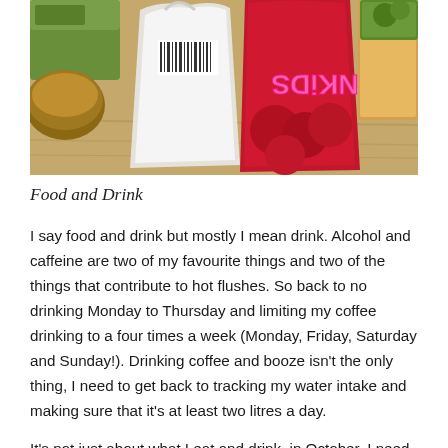[Figure (photo): Photo of groceries on a wooden surface including a white plastic bag, a bag of PiNKiDS apples (red bag with colorful text), and other food items in the background.]
Food and Drink
I say food and drink but mostly I mean drink. Alcohol and caffeine are two of my favourite things and two of the things that contribute to hot flushes. So back to no drinking Monday to Thursday and limiting my coffee drinking to a four times a week (Monday, Friday, Saturday and Sunday!). Drinking coffee and booze isn't the only thing, I need to get back to tracking my water intake and making sure that it's at least two litres a day.
It's not just about what I eat and drink, in October, I need to menu plan and prep food so I'm not aimlessly looking at